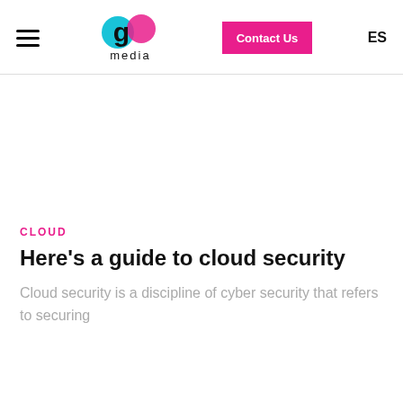G Media — Contact Us | ES
CLOUD
Here's a guide to cloud security
Cloud security is a discipline of cyber security that refers to securing